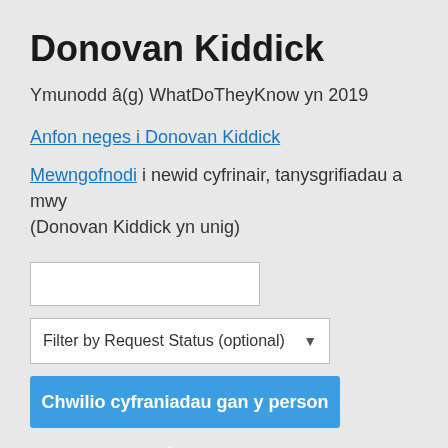Donovan Kiddick
Ymunodd â(g) WhatDoTheyKnow yn 2019
Anfon neges i Donovan Kiddick
Mewngofnodi i newid cyfrinair, tanysgrifiadau a mwy (Donovan Kiddick yn unig)
Filter by Request Status (optional)
Chwilio cyfraniadau gan y person hwn
This person's Freedom of